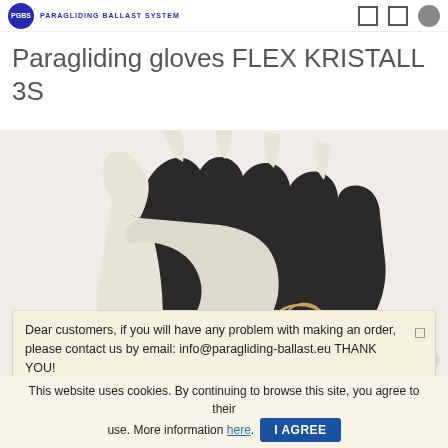PGBS PARAGLIDING BALLAST SYSTEM
Paragliding gloves FLEX KRISTALL 3S
[Figure (photo): A white and black paragliding glove photographed from the back, showing fingers spread, with a decorative gold/copper emblem near the wrist area. The glove is on a light grey background.]
Dear customers,  if you will have any problem with making an order, please contact us by email: info@paragliding-ballast.eu THANK YOU!
This website uses cookies. By continuing to browse this site, you agree to their use. More information here. I AGREE